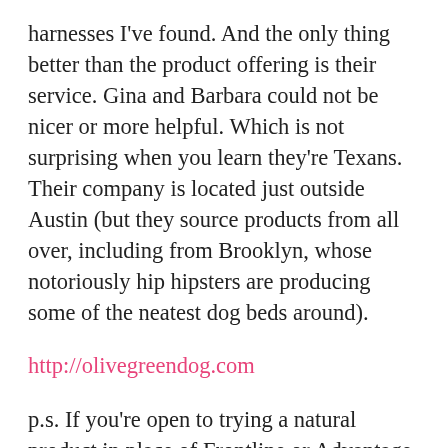harnesses I've found. And the only thing better than the product offering is their service. Gina and Barbara could not be nicer or more helpful. Which is not surprising when you learn they're Texans. Their company is located just outside Austin (but they source products from all over, including from Brooklyn, whose notoriously hip hipsters are producing some of the neatest dog beds around).
http://olivegreendog.com
p.s. If you're open to trying a natural product in place of Frontline or Advantage chemical